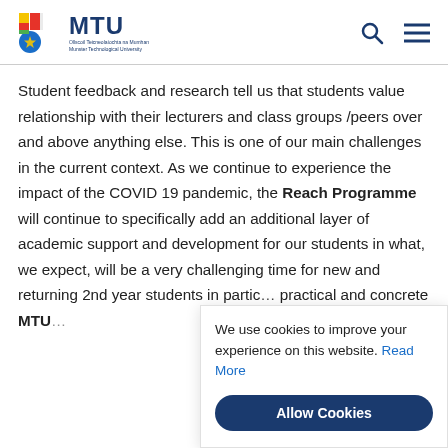MTU — Munster Technological University
Student feedback and research tell us that students value relationship with their lecturers and class groups /peers over and above anything else. This is one of our main challenges in the current context. As we continue to experience the impact of the COVID 19 pandemic, the Reach Programme will continue to specifically add an additional layer of academic support and development for our students in what, we expect, will be a very challenging time for new and returning 2nd year students in partic… practical and concrete MTU…
We use cookies to improve your experience on this website. Read More
Allow Cookies